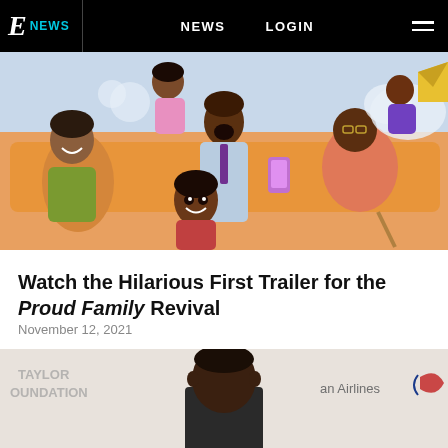E! NEWS   NEWS   LOGIN
[Figure (illustration): Animated cartoon illustration of the Proud Family characters — a group of animated Black family members in colorful clothing, shown in a bright living room scene with expressive faces and gestures]
Watch the Hilarious First Trailer for the Proud Family Revival
November 12, 2021
[Figure (photo): Photo of a young Black man at an event backdrop showing text including 'TAYLOR FOUNDATION' and 'an Airlines' with American Airlines logo]